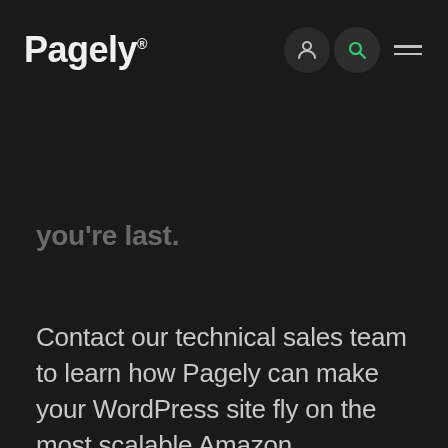Pagely®
you're last.
Contact our technical sales team to learn how Pagely can make your WordPress site fly on the most scalable Amazon WordPress hosting platform in the world.